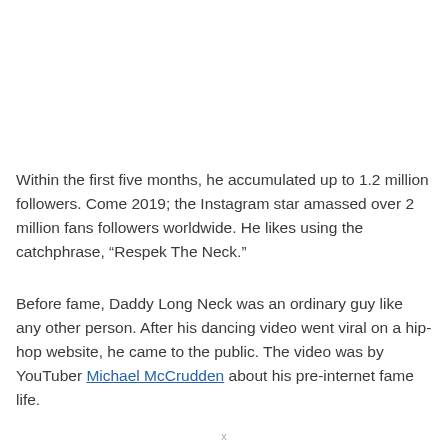Within the first five months, he accumulated up to 1.2 million followers. Come 2019; the Instagram star amassed over 2 million fans followers worldwide. He likes using the catchphrase, “Respek The Neck.”
Before fame, Daddy Long Neck was an ordinary guy like any other person. After his dancing video went viral on a hip-hop website, he came to the public. The video was by YouTuber Michael McCrudden about his pre-internet fame life.
x